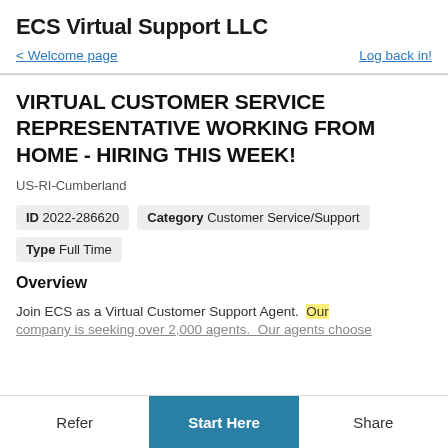ECS Virtual Support LLC
< Welcome page   Log back in!
VIRTUAL CUSTOMER SERVICE REPRESENTATIVE WORKING FROM HOME - HIRING THIS WEEK!
US-RI-Cumberland
ID 2022-286620   Category Customer Service/Support
Type Full Time
Overview
Join ECS as a Virtual Customer Support Agent. Our company is seeking over 2,000 agents. Our agents choose
Refer   Start Here   Share